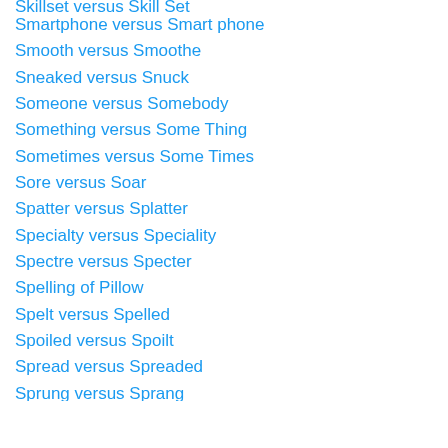Skillset versus Skill Set
Smartphone versus Smart phone
Smooth versus Smoothe
Sneaked versus Snuck
Someone versus Somebody
Something versus Some Thing
Sometimes versus Some Times
Sore versus Soar
Spatter versus Splatter
Specialty versus Speciality
Spectre versus Specter
Spelling of Pillow
Spelt versus Spelled
Spoiled versus Spoilt
Spread versus Spreaded
Sprung versus Sprang